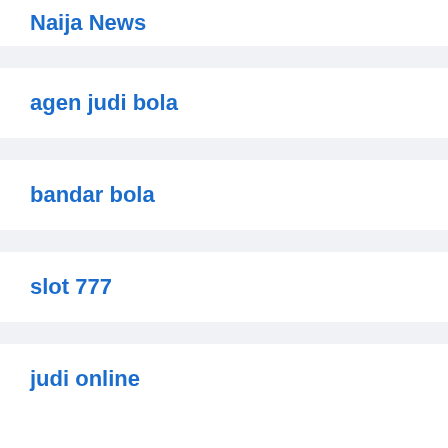Naija News
agen judi bola
bandar bola
slot 777
judi online